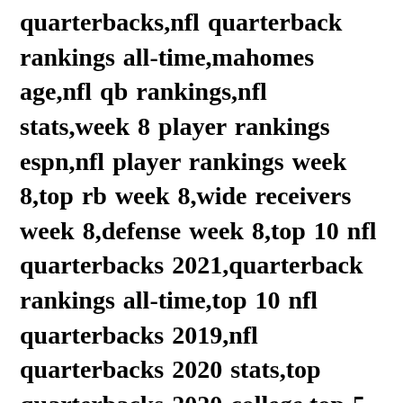quarterbacks,nfl quarterback rankings all-time,mahomes age,nfl qb rankings,nfl stats,week 8 player rankings espn,nfl player rankings week 8,top rb week 8,wide receivers week 8,defense week 8,top 10 nfl quarterbacks 2021,quarterback rankings all-time,top 10 nfl quarterbacks 2019,nfl quarterbacks 2020 stats,top quarterbacks 2020 college,top 5 quarterbacks 2020,espn,top nfl players under 25 2020,top 25 nfl players 2021,top 25 nfl players 2020,top 25 nfl teams,nfl players with number 25,top 25 nfl players of all time,top 10 nfl quarterbacks 2020,best qb in nfl